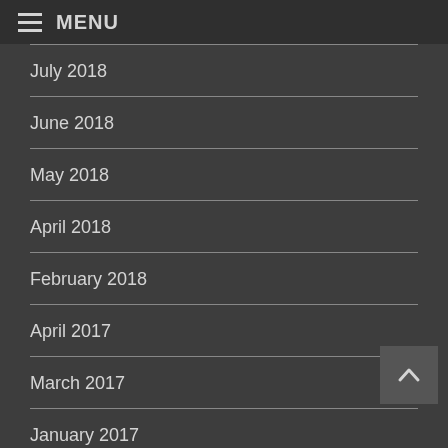MENU
July 2018
June 2018
May 2018
April 2018
February 2018
April 2017
March 2017
January 2017
December 2016
September 2016